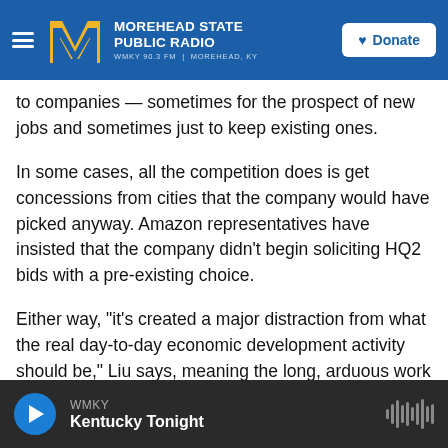Morehead State Public Radio — WMKY 90.3 FM | Morehead, KY — Donate
to companies — sometimes for the prospect of new jobs and sometimes just to keep existing ones.
In some cases, all the competition does is get concessions from cities that the company would have picked anyway. Amazon representatives have insisted that the company didn't begin soliciting HQ2 bids with a pre-existing choice.
Either way, "it's created a major distraction from what the real day-to-day economic development activity should be," Liu says, meaning the long, arduous work of grooming and nurturing locally grown businesses.
WMKY — Kentucky Tonight